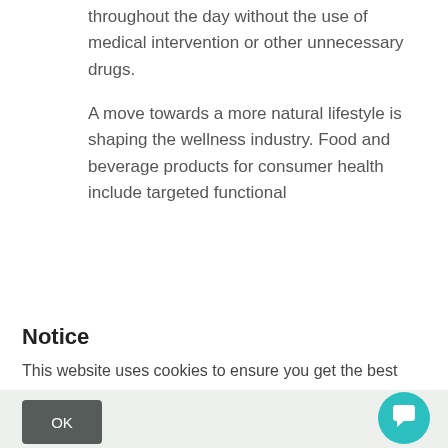throughout the day without the use of medical intervention or other unnecessary drugs.
A move towards a more natural lifestyle is shaping the wellness industry. Food and beverage products for consumer health include targeted functional
Notice
This website uses cookies to ensure you get the best experience on our website. Learn more